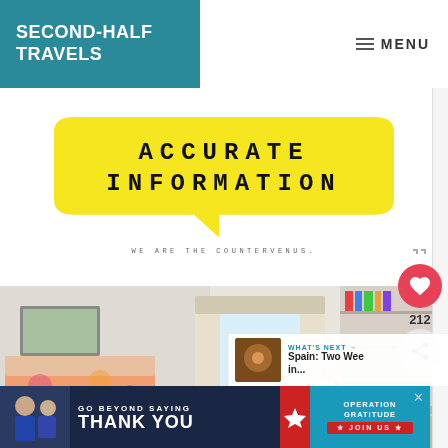SECOND-HALF TRAVELS
MENU
[Figure (infographic): Yellow speech bubble graphic with bold text 'ACCURATE INFORMATION' and caption 'WE ARE THE COUNTERVENUS.' in monospace font]
[Figure (photo): Interior room photo showing a bed with floral bedspread, window with curtains, bookshelf, and desk area]
WHAT'S NEXT → Spain: Two Wee in...
[Figure (infographic): Advertisement banner: GO BEYOND SAYING THANK YOU — Operation Gratitude JOIN US]